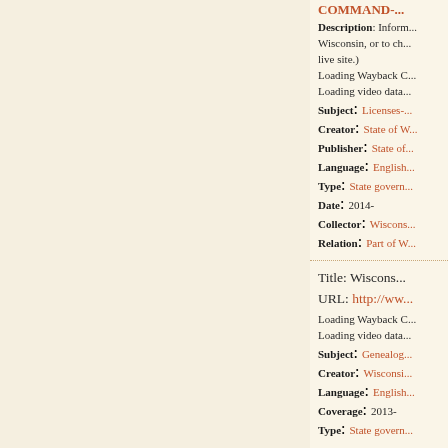COMMAND-...
Description: Information about Wisconsin, or to ch... live site.)
Loading Wayback C...
Loading video data...
Subject: Licenses-...
Creator: State of W...
Publisher: State of...
Language: English...
Type: State govern...
Date: 2014-
Collector: Wiscons...
Relation: Part of W...
Title: Wiscons...
URL: http://ww...
Loading Wayback C...
Loading video data...
Subject: Genealog...
Creator: Wisconsi...
Language: English...
Coverage: 2013-
Type: State govern...